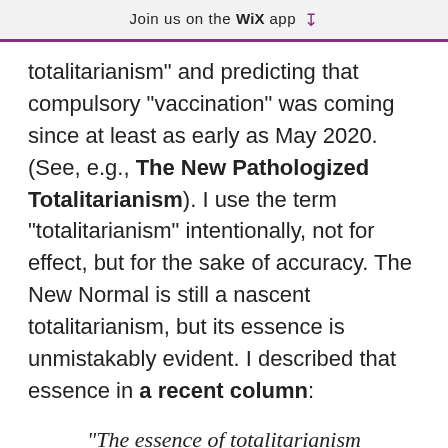Join us on the WiX app ↓
totalitarianism" and predicting that compulsory "vaccination" was coming since at least as early as May 2020. (See, e.g., The New Pathologized Totalitarianism). I use the term "totalitarianism" intentionally, not for effect, but for the sake of accuracy. The New Normal is still a nascent totalitarianism, but its essence is unmistakably evident. I described that essence in a recent column:
"The essence of totalitarianism